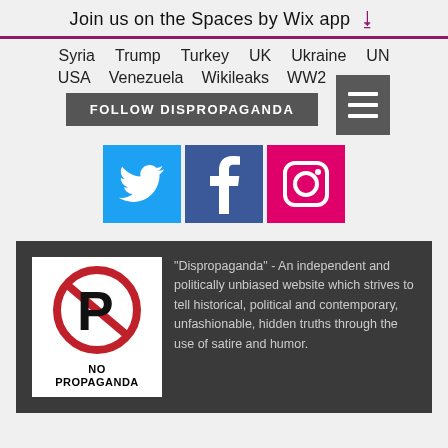Join us on the Spaces by Wix app
Syria  Trump  Turkey  UK  Ukraine  UN
USA  Venezuela  Wikileaks  WW2
FOLLOW DISPROPAGANDA
[Figure (logo): Social media icons: Twitter (blue bird), Facebook (blue f), Instagram (pink camera)]
[Figure (logo): No Propaganda logo: red circle with slash over letter P, text NO PROPAGANDA below]
"Dispropaganda" - An independent and politically unbiased website which strives to tell historical, political and contemporary, unfashionable, hidden truths through the use of satire and humor.